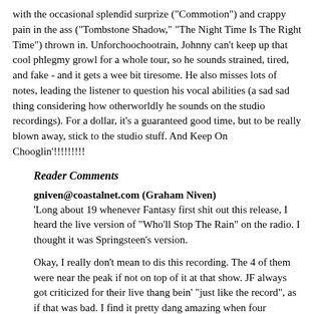with the occasional splendid surprize ("Commotion") and crappy pain in the ass ("Tombstone Shadow," "The Night Time Is The Right Time") thrown in. Unforchoochootrain, Johnny can't keep up that cool phlegmy growl for a whole tour, so he sounds strained, tired, and fake - and it gets a wee bit tiresome. He also misses lots of notes, leading the listener to question his vocal abilities (a sad sad thing considering how otherworldly he sounds on the studio recordings). For a dollar, it's a guaranteed good time, but to be really blown away, stick to the studio stuff. And Keep On Chooglin'!!!!!!!!!
Reader Comments
gniven@coastalnet.com (Graham Niven)
'Long about 19 whenever Fantasy first shit out this release, I heard the live version of "Who'll Stop The Rain" on the radio. I thought it was Springsteen's version.
Okay, I really don't mean to dis this recording. The 4 of them were near the peak if not on top of it at that show. JF always got criticized for their live thang bein' "just like the record", as if that was bad. I find it pretty dang amazing when four musicians can even approach a multi track studio version.
I saw em live in August 1970 in Jacksonville FLA and man,